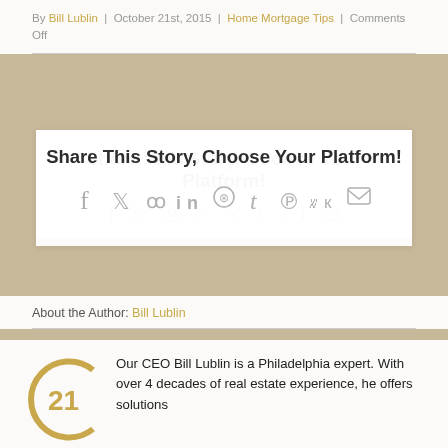By Bill Lublin | October 21st, 2015 | Home Mortgage Tips | Comments Off
[Figure (infographic): Share This Story, Choose Your Platform! box with social media icons: Facebook, Twitter, Reddit, LinkedIn, WhatsApp, Tumblr, Pinterest, VK, Email]
About the Author: Bill Lublin
[Figure (logo): Century 21 logo - circular C with 21 inside in gold/tan]
Our CEO Bill Lublin is a Philadelphia expert. With over 4 decades of real estate experience, he offers solutions to every problem faced by consumers in today's marketplace. A nationally celebrated real estate